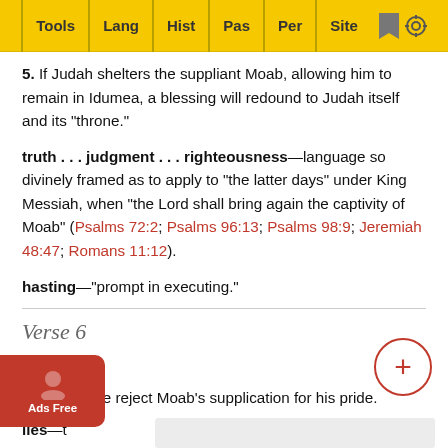Tools | Lang | Hist | Pas | Per | Site
5. If Judah shelters the suppliant Moab, allowing him to remain in Idumea, a blessing will redound to Judah itself and its "throne."
truth . . . judgment . . . righteousness—language so divinely framed as to apply to "the latter days" under King Messiah, when "the Lord shall bring again the captivity of Moab" (Psalms 72:2; Psalms 96:13; Psalms 98:9; Jeremiah 48:47; Romans 11:12).
hasting—"prompt in executing."
Verse 6
e—Jews. We reject Moab's supplication for his pride.
lies—t